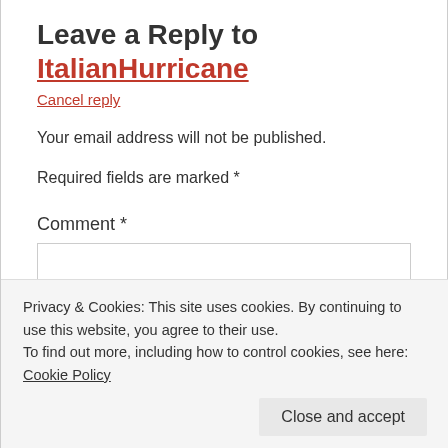Leave a Reply to ItalianHurricane
Cancel reply
Your email address will not be published.
Required fields are marked *
Comment *
Privacy & Cookies: This site uses cookies. By continuing to use this website, you agree to their use.
To find out more, including how to control cookies, see here: Cookie Policy
Close and accept